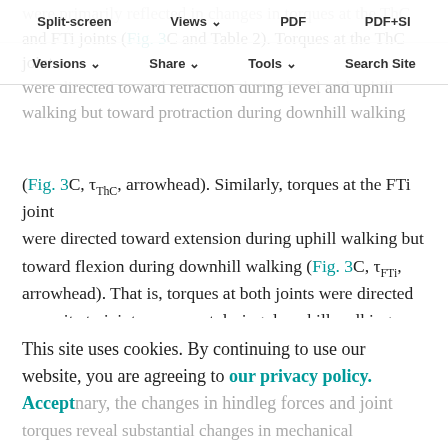Split-screen  Views  PDF  PDF+SI
Versions  Share  Tools  Search Site
were primarily reflected in changes in torques at the ThC and FTi joints (Fig. 3C and Table 2). Torques at the ThC joint were directed toward retraction during level and uphill walking but toward protraction during downhill walking (Fig. 3C, τ_ThC, arrowhead). Similarly, torques at the FTi joint were directed toward extension during uphill walking but toward flexion during downhill walking (Fig. 3C, τ_FTi, arrowhead). That is, torques at both joints were directed opposite to joint movement during downhill walking, which suggests a stabilizing function (Fig. 3D, gray shaded areas). Torques at the CTr joint differed less across conditions (Fig. 3C, τ_CTr). Torques at this joint generally reflected the vertical force of the leg and were directed toward joint
This site uses cookies. By continuing to use our website, you are agreeing to our privacy policy. Accept
nary, the changes in hindleg forces and joint torques reveal substantial changes in mechanical...